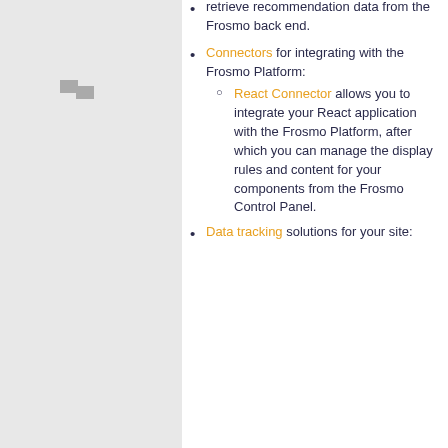[Figure (other): Small gray icon consisting of two overlapping rectangles in the left panel navigation area]
retrieve recommendation data from the Frosmo back end.
Connectors for integrating with the Frosmo Platform:
React Connector allows you to integrate your React application with the Frosmo Platform, after which you can manage the display rules and content for your components from the Frosmo Control Panel.
Data tracking solutions for your site: